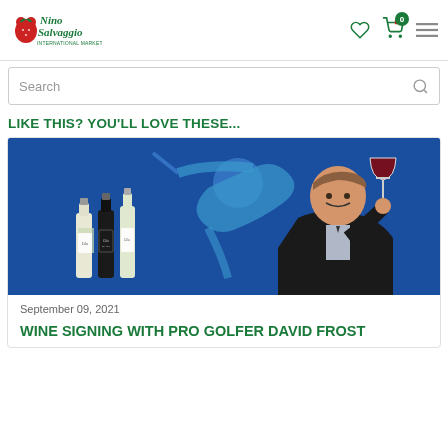Nino Salvaggio International Marketplace
Search
LIKE THIS? YOU'LL LOVE THESE...
[Figure (photo): Promotional image showing wine bottles on the left with a blue golf swing silhouette in the background, and a smiling man in a dark jacket holding a glass of red wine on the right.]
September 09, 2021
WINE SIGNING WITH PRO GOLFER DAVID FROST